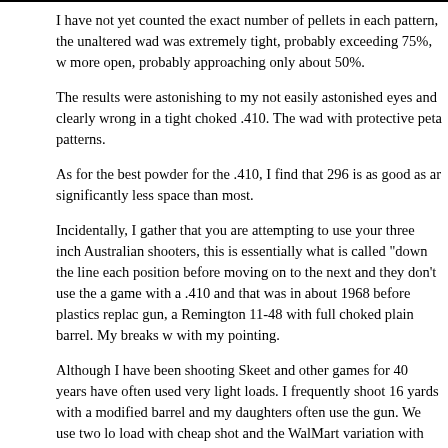I have not yet counted the exact number of pellets in each pattern, the unaltered wad was extremely tight, probably exceeding 75%, more open, probably approaching only about 50%.
The results were astonishing to my not easily astonished eyes and clearly wrong in a tight choked .410. The wad with protective peta patterns.
As for the best powder for the .410, I find that 296 is as good as ar significantly less space than most.
Incidentally, I gather that you are attempting to use your three inch Australian shooters, this is essentially what is called "down the line each position before moving on to the next and they don't use the a game with a .410 and that was in about 1968 before plastics replac gun, a Remington 11-48 with full choked plain barrel. My breaks v with my pointing.
Although I have been shooting Skeet and other games for 40 years have often used very light loads. I frequently shoot 16 yards with a modified barrel and my daughters often use the gun. We use two lo load with cheap shot and the WalMart variation with just 3/4 oz. o My best score with either load has been 49/50, and I have done it c shot 24/25 with a 28 gauge 870 with a modified choke and standar